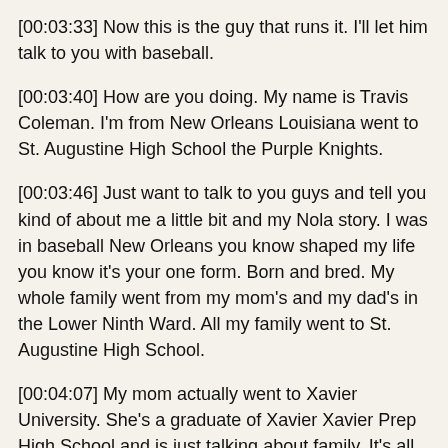[00:03:33] Now this is the guy that runs it. I'll let him talk to you with baseball.
[00:03:40] How are you doing. My name is Travis Coleman. I'm from New Orleans Louisiana went to St. Augustine High School the Purple Knights.
[00:03:46] Just want to talk to you guys and tell you kind of about me a little bit and my Nola story. I was in baseball New Orleans you know shaped my life you know it's your one form. Born and bred. My whole family went from my mom's and my dad's in the Lower Ninth Ward. All my family went to St. Augustine High School.
[00:04:07] My mom actually went to Xavier University. She's a graduate of Xavier Xavier Prep High School and is just talking about family. It's all about passion. On top of being tough and resilient and told me about being excellent. That's what I'm saying all. Tell me about was excessive that a goal which is a